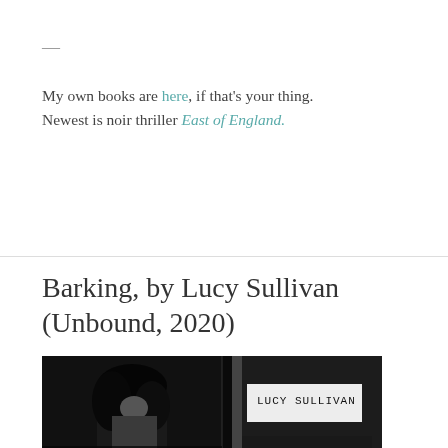—
My own books are here, if that's your thing. Newest is noir thriller East of England.
[Figure (other): Horizontal divider line]
Barking, by Lucy Sullivan (Unbound, 2020)
[Figure (photo): Black and white book cover photo with text 'LUCY SULLIVAN' visible]